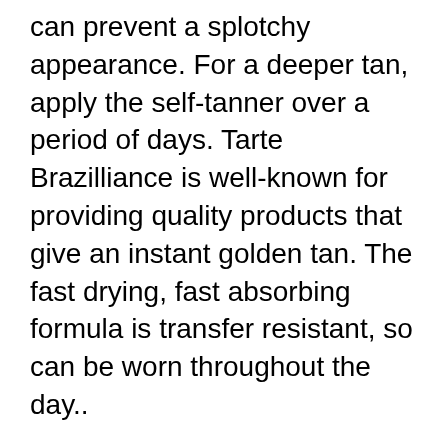can prevent a splotchy appearance. For a deeper tan, apply the self-tanner over a period of days. Tarte Brazilliance is well-known for providing quality products that give an instant golden tan. The fast drying, fast absorbing formula is transfer resistant, so can be worn throughout the day..
Brazilliance Plus + Self-Tanner Beautypedia
Tarte Brazilliance Self-Tanner & Application Mitt. 2019-12-14вЂ‚В·вЂ‚Perfect for all skin tones, this self-tanner foams into lightweight, fuss-free mousse for your deepest, darkest tan. The easy-to-use formula brings the